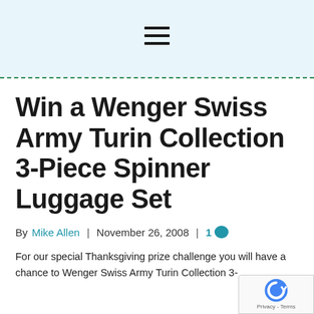hamburger menu icon
Win a Wenger Swiss Army Turin Collection 3-Piece Spinner Luggage Set
By Mike Allen | November 26, 2008 | 1
For our special Thanksgiving prize challenge you will have a chance to Wenger Swiss Army Turin Collection 3-